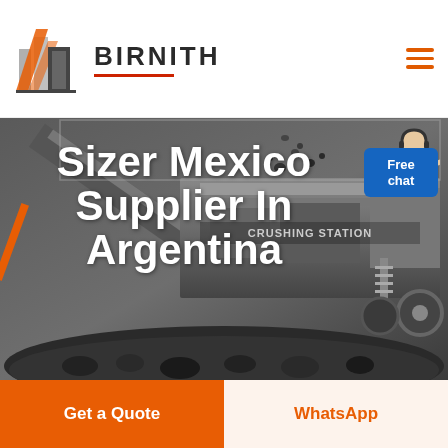[Figure (logo): Birnith company logo with orange and grey building icon and brand name BIRNITH with red underline]
[Figure (photo): Industrial crushing station machinery in dark grey/monochrome tones with coal/rock material, heavy equipment conveyor and crushing apparatus]
Sizer Mexico Supplier In Argentina
Free chat
Get a Quote
WhatsApp